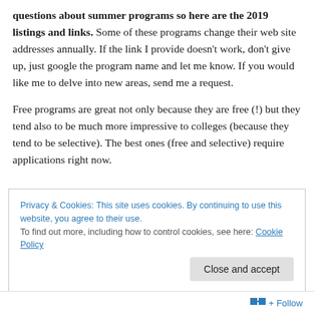questions about summer programs so here are the 2019 listings and links. Some of these programs change their web site addresses annually. If the link I provide doesn't work, don't give up, just google the program name and let me know. If you would like me to delve into new areas, send me a request.
Free programs are great not only because they are free (!) but they tend also to be much more impressive to colleges (because they tend to be selective). The best ones (free and selective) require applications right now.
Privacy & Cookies: This site uses cookies. By continuing to use this website, you agree to their use. To find out more, including how to control cookies, see here: Cookie Policy